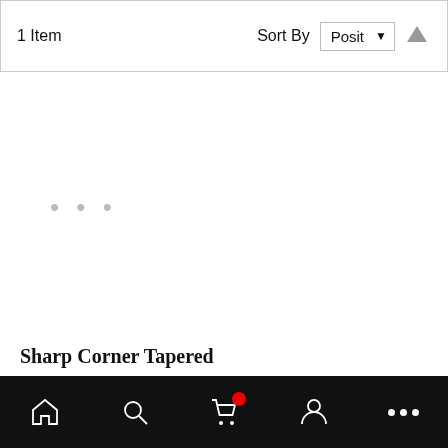1 Item   Sort By  Posit ↑
[Figure (other): Product image area showing loading indicator (three dots) for Sharp Corner Tapered Rectangle Black Chintz product]
Sharp Corner Tapered Rectangle Black Chintz
As low as:  $175.00
[Figure (other): Three action buttons: add to cart (shopping cart icon), wishlist (heart icon), and compare (overlapping pages icon)]
Home | Search | Cart | Account | More